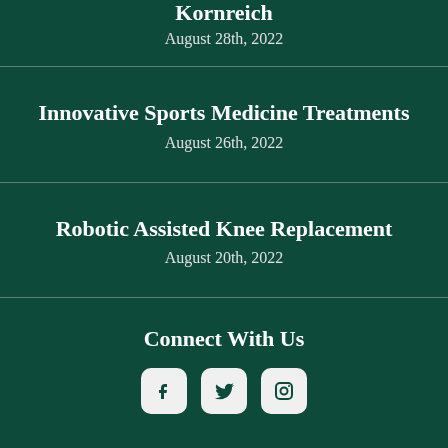Kornreich
August 28th, 2022
Innovative Sports Medicine Treatments
August 26th, 2022
Robotic Assisted Knee Replacement
August 20th, 2022
Connect With Us